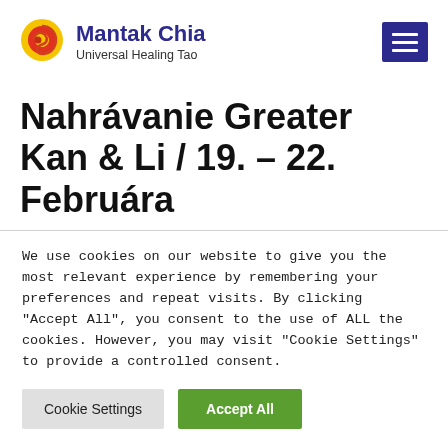Mantak Chia — Universal Healing Tao
Nahrávanie Greater Kan & Li / 19. – 22. Februára
We use cookies on our website to give you the most relevant experience by remembering your preferences and repeat visits. By clicking "Accept All", you consent to the use of ALL the cookies. However, you may visit "Cookie Settings" to provide a controlled consent.